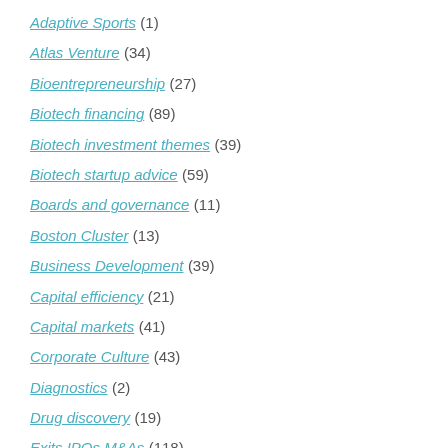Adaptive Sports (1)
Atlas Venture (34)
Bioentrepreneurship (27)
Biotech financing (89)
Biotech investment themes (39)
Biotech startup advice (59)
Boards and governance (11)
Boston Cluster (13)
Business Development (39)
Capital efficiency (21)
Capital markets (41)
Corporate Culture (43)
Diagnostics (2)
Drug discovery (19)
Exits IPOs M&As (118)